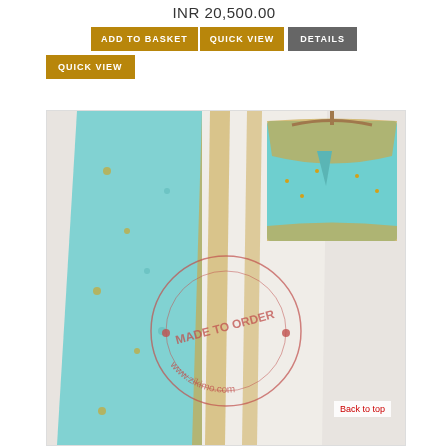INR 20,500.00
ADD TO BASKET   QUICK VIEW   DETAILS
QUICK VIEW
[Figure (photo): A teal/mint green Indian lehenga set with gold embroidery and sequins, displayed on a wooden hanger against a white wall. Includes a dupatta and matching blouse. A circular watermark reads 'MADE TO ORDER www.zikimo.com'.]
Back to top